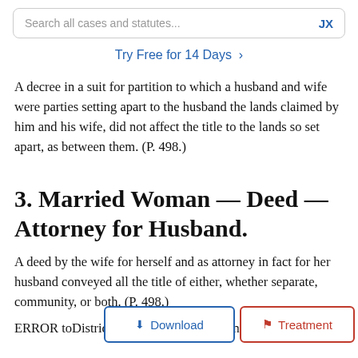[Figure (screenshot): Search bar with text 'Search all cases and statutes...' and JX logo on the right]
Try Free for 14 Days >
A decree in a suit for partition to which a husband and wife were parties setting apart to the husband the lands claimed by him and his wife, did not affect the title to the lands so set apart, as between them. (P. 498.)
3. Married Woman — Deed — Attorney for Husband.
A deed by the wife for herself and as attorney in fact for her husband conveyed all the title of either, whether separate, community, or both. (P. 498.)
ERROR to the Civil A rst District, in an appeal from Aransas County.